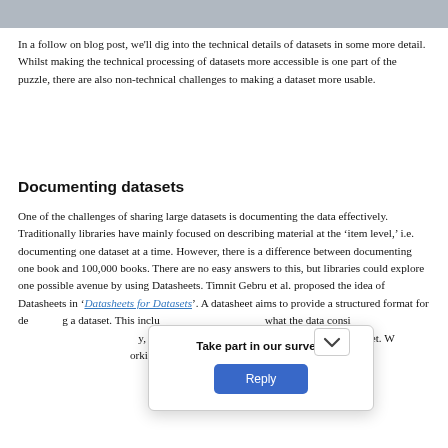[Figure (photo): Gray banner image at top of page]
In a follow on blog post, we'll dig into the technical details of datasets in some more detail. Whilst making the technical processing of datasets more accessible is one part of the puzzle, there are also non-technical challenges to making a dataset more usable.
Documenting datasets
One of the challenges of sharing large datasets is documenting the data effectively. Traditionally libraries have mainly focused on describing material at the ‘item level,’ i.e. documenting one dataset at a time. However, there is a difference between documenting one book and 100,000 books. There are no easy answers to this, but libraries could explore one possible avenue by using Datasheets. Timnit Gebru et al. proposed the idea of Datasheets in ‘Datasheets for Datasets’. A datasheet aims to provide a structured format for de…ing a dataset. This includ… what the data consi… y, datasheet… ions of a dataset. W… orking
Take part in our survey!
Reply